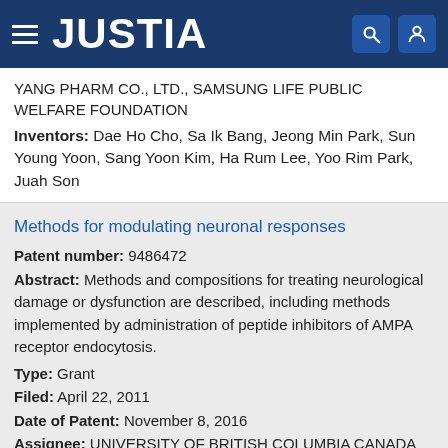JUSTIA
YANG PHARM CO., LTD., SAMSUNG LIFE PUBLIC WELFARE FOUNDATION
Inventors: Dae Ho Cho, Sa Ik Bang, Jeong Min Park, Sun Young Yoon, Sang Yoon Kim, Ha Rum Lee, Yoo Rim Park, Juah Son
Methods for modulating neuronal responses
Patent number: 9486472
Abstract: Methods and compositions for treating neurological damage or dysfunction are described, including methods implemented by administration of peptide inhibitors of AMPA receptor endocytosis.
Type: Grant
Filed: April 22, 2011
Date of Patent: November 8, 2016
Assignee: UNIVERSITY OF BRITISH COLUMBIA CANADA